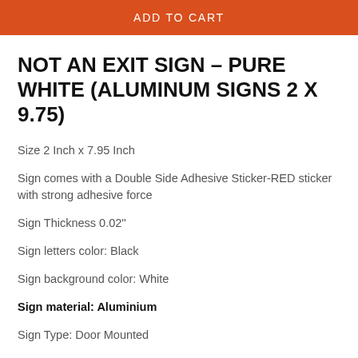ADD TO CART
NOT AN EXIT SIGN – PURE WHITE (ALUMINUM SIGNS 2 X 9.75)
Size 2 Inch x 7.95 Inch
Sign comes with a Double Side Adhesive Sticker-RED sticker with strong adhesive force
Sign Thickness 0.02''
Sign letters color: Black
Sign background color: White
Sign material: Aluminium
Sign Type: Door Mounted
HRD Required sign: NO (See Law and regulations)